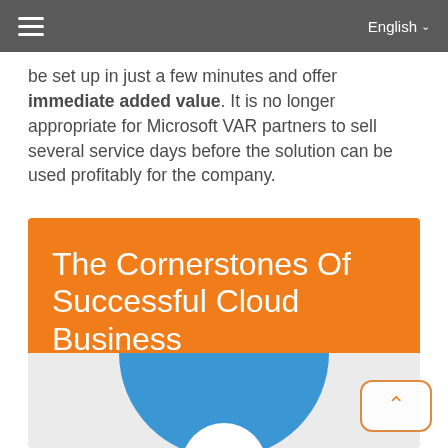English
be set up in just a few minutes and offer immediate added value. It is no longer appropriate for Microsoft VAR partners to sell several service days before the solution can be used profitably for the company.
The Cornerstones Of Successful Cloud Business
[Figure (illustration): Blue circle/donut diagram partially visible on grey background, representing cornerstones concept, with a white circle cutout at bottom center. A scroll-to-top button with an upward chevron is overlaid at bottom right.]